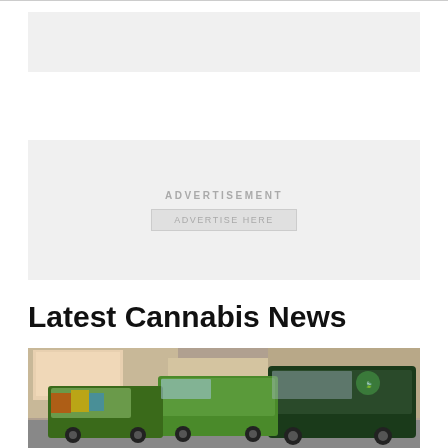[Figure (other): Top advertisement banner placeholder, light gray background]
[Figure (other): Advertisement block with 'ADVERTISEMENT' label and 'ADVERTISE HERE' button]
Latest Cannabis News
[Figure (photo): Photo of multiple green cannabis-branded vans and vehicles parked in an urban setting. A large dark green van with a cannabis leaf logo reading 'Hemp on Wheels' is prominently visible on the right.]